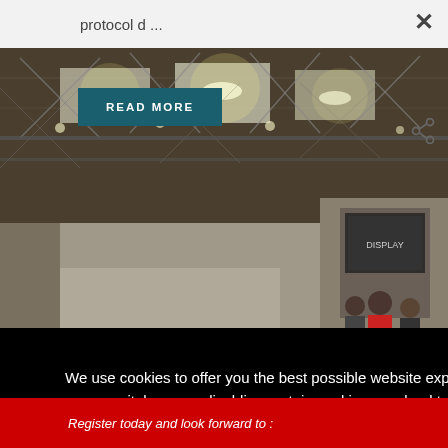protocol d ...
[Figure (screenshot): Screenshot of a website showing a cookie consent modal overlay on top of an exhibition hall / trade show venue photo. The background shows a large indoor venue with metal truss ceiling, bright lights, and exhibition booths. A teal 'READ MORE' button is visible in the upper left area. A black cookie consent modal occupies the lower-center of the viewport with white text and a yellow 'Accept All Cookies' button. A red banner is partially visible at the bottom.]
We use cookies to offer you the best possible website experience. You are free to decide which categories you permit, however disabling certain cookies may lead to this website no longer functioning fully. Please see our Cookies Policy here
Accept All Cookies
Register today and look forward to :